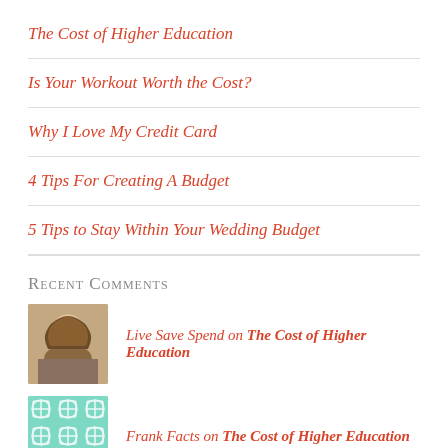The Cost of Higher Education
Is Your Workout Worth the Cost?
Why I Love My Credit Card
4 Tips For Creating A Budget
5 Tips to Stay Within Your Wedding Budget
Recent Comments
Live Save Spend on The Cost of Higher Education
Frank Facts on The Cost of Higher Education